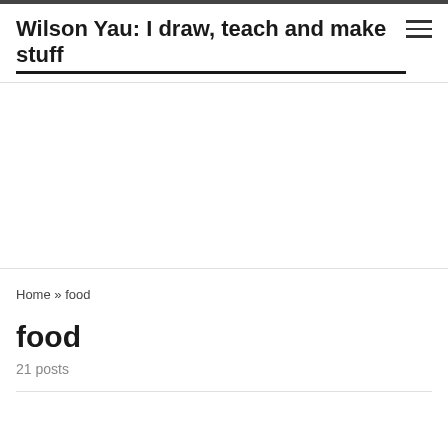Wilson Yau: I draw, teach and make stuff
Home » food
food
21 posts